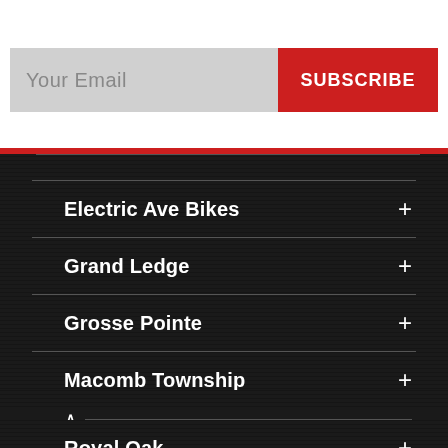Your Email
SUBSCRIBE
Electric Ave Bikes
Grand Ledge
Grosse Pointe
Macomb Township
Okemos
Pontiac
Royal Oak